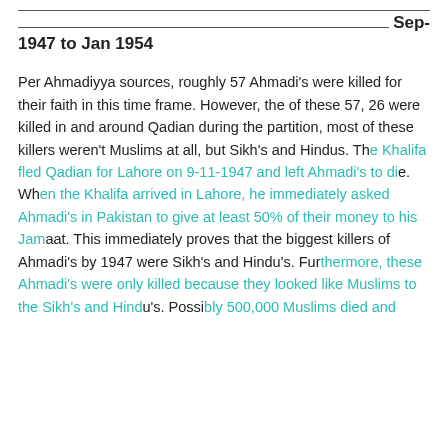Sep-1947 to Jan 1954
Per Ahmadiyya sources, roughly 57 Ahmadi's were killed for their faith in this time frame. However, the of these 57, 26 were killed in and around Qadian during the partition, most of these killers weren't Muslims at all, but Sikh's and Hindus. The Khalifa fled Qadian for Lahore on 9-11-1947 and left Ahmadi's to die. When the Khalifa arrived in Lahore, he immediately asked Ahmadi's in Pakistan to give at least 50% of their money to his Jamaat. This immediately proves that the biggest killers of Ahmadi's by 1947 were Sikh's and Hindu's. Furthermore, these Ahmadi's were only killed because they looked like Muslims to the Sikh's and Hindu's. Possibly 500,000 Muslims died and...